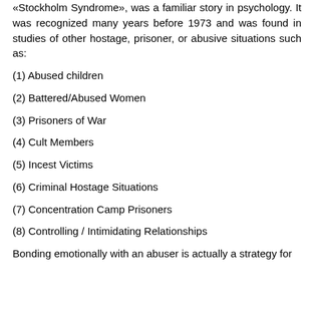"bonding" with captors in hostage situations, such as the «Stockholm Syndrome», was a familiar story in psychology. It was recognized many years before 1973 and was found in studies of other hostage, prisoner, or abusive situations such as:
(1) Abused children
(2) Battered/Abused Women
(3) Prisoners of War
(4) Cult Members
(5) Incest Victims
(6) Criminal Hostage Situations
(7) Concentration Camp Prisoners
(8) Controlling / Intimidating Relationships
Bonding emotionally with an abuser is actually a strategy for